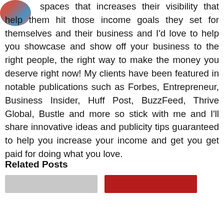[Figure (logo): Circular logo with red, blue, and red colors top-left corner]
spaces that increases their visibility that help them hit those income goals they set for themselves and their business and I'd love to help you showcase and show off your business to the right people, the right way to make the money you deserve right now! My clients have been featured in notable publications such as Forbes, Entrepreneur, Business Insider, Huff Post, BuzzFeed, Thrive Global, Bustle and more so stick with me and I'll share innovative ideas and publicity tips guaranteed to help you increase your income and get you get paid for doing what you love.
Related Posts
[Figure (photo): Left related post thumbnail - gray image]
[Figure (photo): Right related post thumbnail - red/dark image]